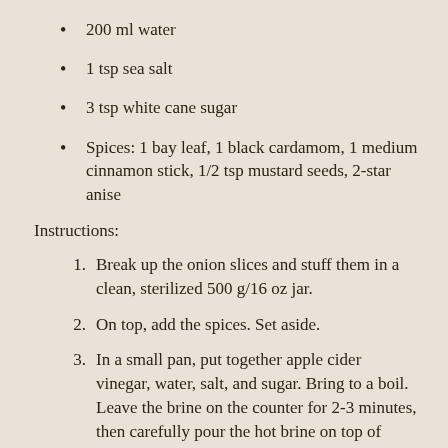200 ml water
1 tsp sea salt
3 tsp white cane sugar
Spices: 1 bay leaf, 1 black cardamom, 1 medium cinnamon stick, 1/2 tsp mustard seeds, 2-star anise
Instructions:
Break up the onion slices and stuff them in a clean, sterilized 500 g/16 oz jar.
On top, add the spices. Set aside.
In a small pan, put together apple cider vinegar, water, salt, and sugar. Bring to a boil. Leave the brine on the counter for 2-3 minutes, then carefully pour the hot brine on top of